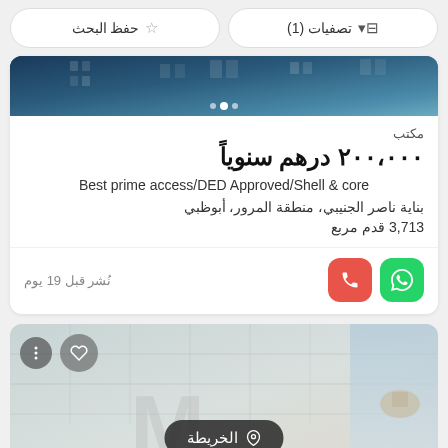حفظ البحث | تصفيات (1)
[Figure (photo): Building exterior photo at top of first listing card]
مكتب
٢٠٠،٠٠٠ درهم سنوياً
Best prime access/DED Approved/Shell & core
بناية ناصر الجنيبي، منطقة المرور، أبوظبي
3,713 قدم مربع
نُشر قبل 19 يوم
[Figure (photo): Interior office photo at top of second listing card with ceiling grid, map button overlay at bottom center reading الخريطة]